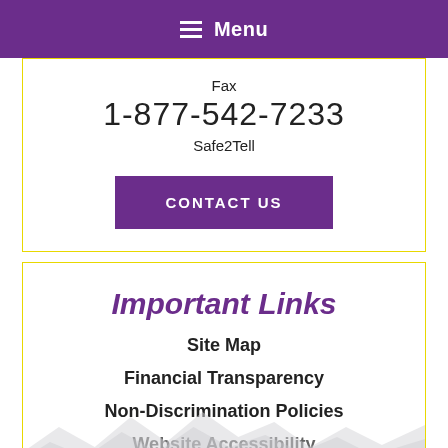Menu
Fax
1-877-542-7233
Safe2Tell
CONTACT US
Important Links
Site Map
Financial Transparency
Non-Discrimination Policies
Website Accessibility